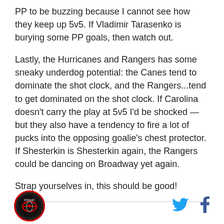PP to be buzzing because I cannot see how they keep up 5v5. If Vladimir Tarasenko is burying some PP goals, then watch out.
Lastly, the Hurricanes and Rangers has some sneaky underdog potential: the Canes tend to dominate the shot clock, and the Rangers...tend to get dominated on the shot clock. If Carolina doesn't carry the play at 5v5 I'd be shocked — but they also have a tendency to fire a lot of pucks into the opposing goalie's chest protector. If Shesterkin is Shesterkin again, the Rangers could be dancing on Broadway yet again.
Strap yourselves in, this should be good!
[Figure (logo): Circular team logo with red border on dark background]